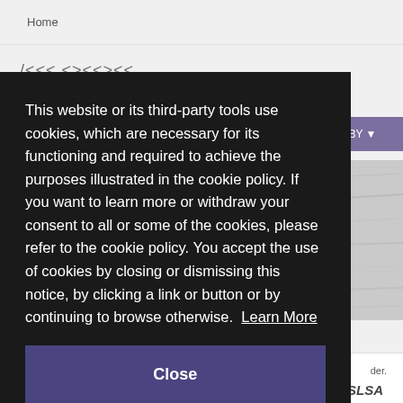Home
This website or its third-party tools use cookies, which are necessary for its functioning and required to achieve the purposes illustrated in the cookie policy. If you want to learn more or withdraw your consent to all or some of the cookies, please refer to the cookie policy. You accept the use of cookies by closing or dismissing this notice, by clicking a link or button or by continuing to browse otherwise. Learn More
Close
SLSA